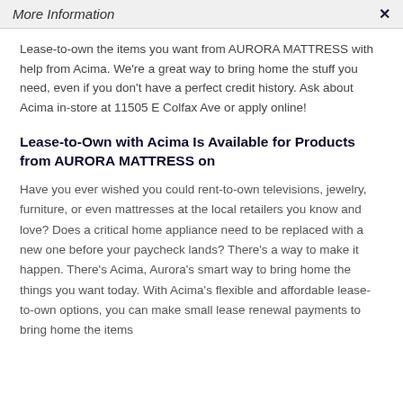More Information
Lease-to-own the items you want from AURORA MATTRESS with help from Acima. We're a great way to bring home the stuff you need, even if you don't have a perfect credit history. Ask about Acima in-store at 11505 E Colfax Ave or apply online!
Lease-to-Own with Acima Is Available for Products from AURORA MATTRESS on
Have you ever wished you could rent-to-own televisions, jewelry, furniture, or even mattresses at the local retailers you know and love? Does a critical home appliance need to be replaced with a new one before your paycheck lands? There's a way to make it happen. There's Acima, Aurora's smart way to bring home the things you want today. With Acima's flexible and affordable lease-to-own options, you can make small lease renewal payments to bring home the items